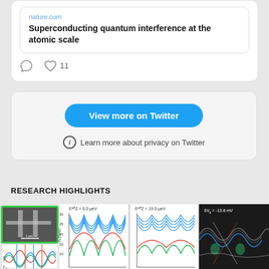[Figure (screenshot): Twitter/social media embed card showing a link to nature.com article 'Superconducting quantum interference at the atomic scale' with comment and like (11) icons]
View more on Twitter
Learn more about privacy on Twitter
RESEARCH HIGHLIGHTS
[Figure (other): Scientific research figure showing SEM image of a device (1 µm scale bar), schematic diagrams, and three panels of oscillating frequency plots labeled E_Z^eff = 0.0 µeV and E_Z^eff = 19.0 µeV with f_1 (GHz) axis ranging from 10 to 30, plus a dark panel labeled δV_g = -13.8 mV showing interference patterns]